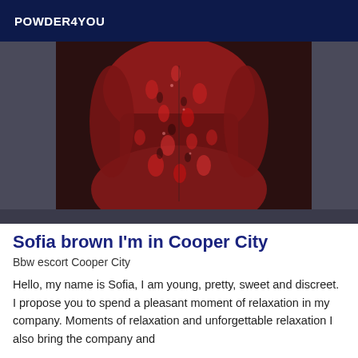POWDER4YOU
[Figure (photo): Person wearing a red and black patterned dress or bodysuit, torso and lower body visible, dark background]
Sofia brown I'm in Cooper City
Bbw escort Cooper City
Hello, my name is Sofia, I am young, pretty, sweet and discreet. I propose you to spend a pleasant moment of relaxation in my company. Moments of relaxation and unforgettable relaxation I also bring the company and